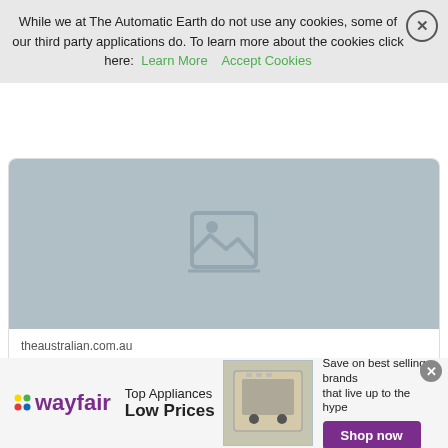While we at The Automatic Earth do not use any cookies, some of our third party applications do. To learn more about the cookies click here: Learn More   Accept Cookies
[Figure (illustration): Article preview image placeholder (broken image icon) with grey background]
theaustralian.com.au
NSW records 262 new cases, 5 deaths
[Figure (photo): Wayfair advertisement banner: Top Appliances Low Prices, showing appliance image, Save on best selling brands that live up to the hype, Shop now button]